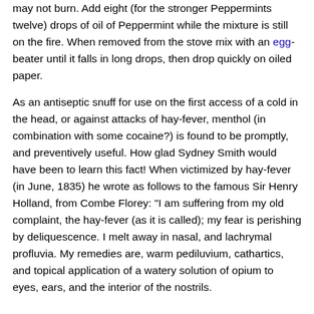may not burn. Add eight (for the stronger Peppermints twelve) drops of oil of Peppermint while the mixture is still on the fire. When removed from the stove mix with an egg-beater until it falls in long drops, then drop quickly on oiled paper.
As an antiseptic snuff for use on the first access of a cold in the head, or against attacks of hay-fever, menthol (in combination with some cocaine?) is found to be promptly, and preventively useful. How glad Sydney Smith would have been to learn this fact! When victimized by hay-fever (in June, 1835) he wrote as follows to the famous Sir Henry Holland, from Combe Florey: "I am suffering from my old complaint, the hay-fever (as it is called); my fear is perishing by deliquescence. I melt away in nasal, and lachrymal profluvia. My remedies are, warm pediluvium, cathartics, and topical application of a watery solution of opium to eyes, ears, and the interior of the nostrils.